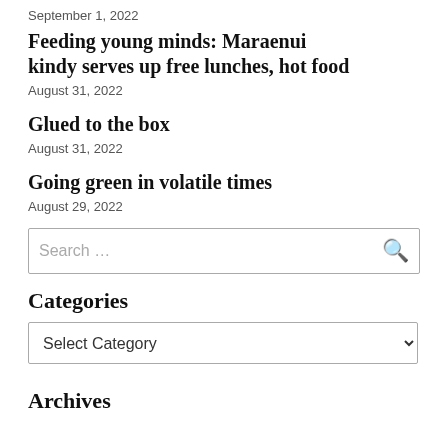September 1, 2022
Feeding young minds: Maraenui kindy serves up free lunches, hot food
August 31, 2022
Glued to the box
August 31, 2022
Going green in volatile times
August 29, 2022
Search …
Categories
Select Category
Archives